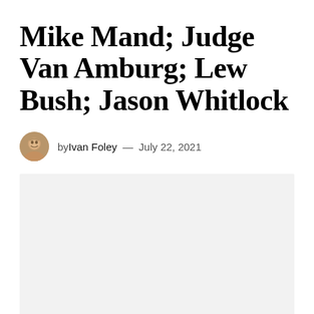Mike Mand; Judge Van Amburg; Lew Bush; Jason Whitlock
by Ivan Foley — July 22, 2021
[Figure (photo): A light gray rectangular placeholder image area below the byline]